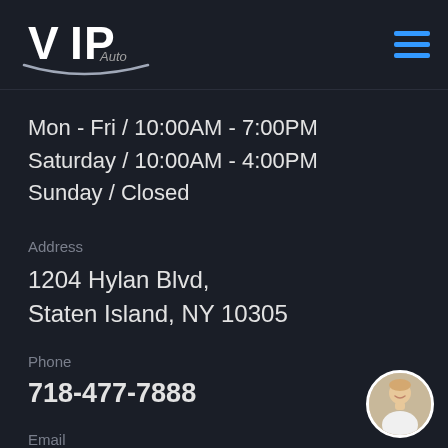[Figure (logo): VIP Auto logo in silver/chrome style with decorative swoosh]
Mon - Fri / 10:00AM - 7:00PM
Saturday / 10:00AM - 4:00PM
Sunday / Closed
Address
1204 Hylan Blvd,
Staten Island, NY 10305
Phone
718-477-7888
Email
[Figure (photo): Small circular avatar photo of a woman smiling, positioned bottom right]